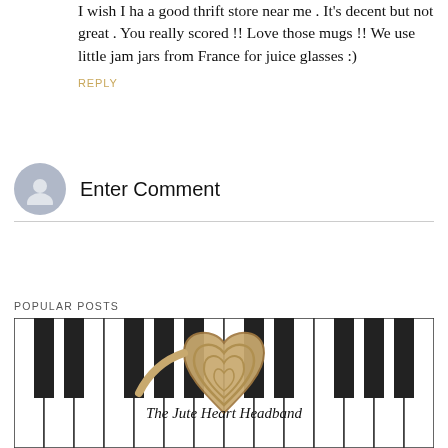I wish I ha a good thrift store near me . It's decent but not great . You really scored !! Love those mugs !! We use little jam jars from France for juice glasses :)
REPLY
Enter Comment
POPULAR POSTS
[Figure (photo): A heart-shaped jute rope craft item resting on black and white piano keys, with italic text overlay reading 'The Jute Heart Headband']